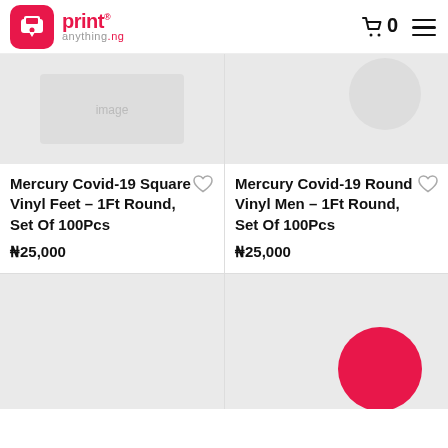[Figure (logo): printanything.ng logo with red icon and text]
[Figure (photo): Mercury Covid-19 Square Vinyl Feet product image, light gray background]
[Figure (photo): Mercury Covid-19 Round Vinyl Men product image, light gray background with partial circular element]
Mercury Covid-19 Square Vinyl Feet – 1Ft Round, Set Of 100Pcs
₦25,000
Mercury Covid-19 Round Vinyl Men – 1Ft Round, Set Of 100Pcs
₦25,000
[Figure (photo): Bottom-left product image, light gray background, no visible product]
[Figure (photo): Bottom-right product image, light gray background with hot pink/magenta circle]